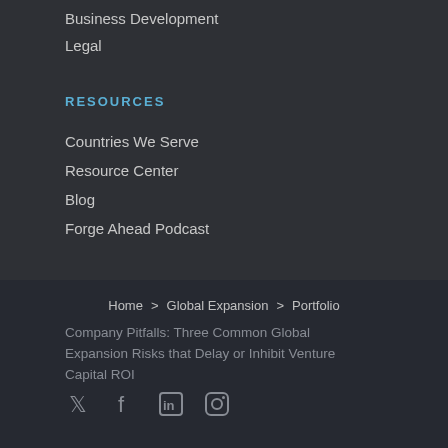Business Development
Legal
RESOURCES
Countries We Serve
Resource Center
Blog
Forge Ahead Podcast
Home > Global Expansion > Portfolio
Company Pitfalls: Three Common Global Expansion Risks that Delay or Inhibit Venture Capital ROI
[Figure (other): Social media icons: Twitter, Facebook, LinkedIn, Instagram]